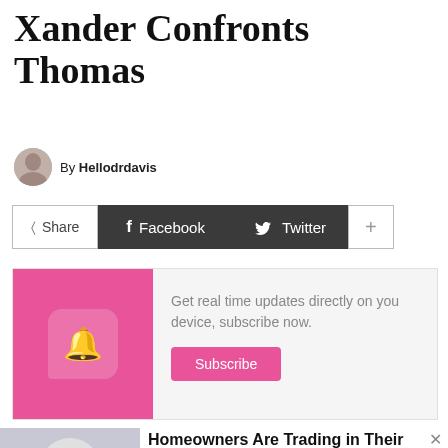Xander Confronts Thomas
By Hellodrdavis
[Figure (infographic): Social share bar with Share, Facebook, Twitter, and + buttons]
[Figure (infographic): Subscribe notification widget with pink background, bell icon, text 'Get real time updates directly on your device, subscribe now.' and a Subscribe button]
[Figure (photo): Advertisement photo showing a doorbell camera device]
Homeowners Are Trading in Their Doorbell Cams for This.
PureCare | Sponsored